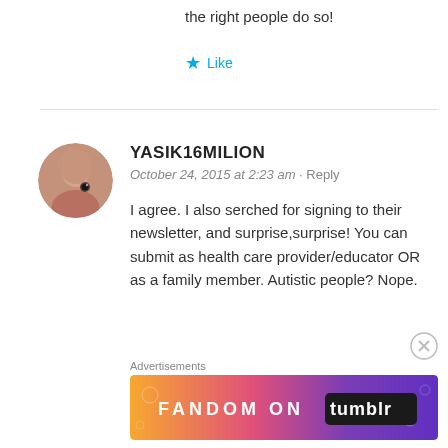the right people do so!
★ Like
YASIK16MILION
October 24, 2015 at 2:23 am · Reply
I agree. I also serched for signing to their newsletter, and surprise,surprise! You can submit as health care provider/educator OR as a family member. Autistic people? Nope.
Advertisements
[Figure (illustration): Fandom on Tumblr advertisement banner with colorful orange-to-purple gradient background and white doodle illustrations]